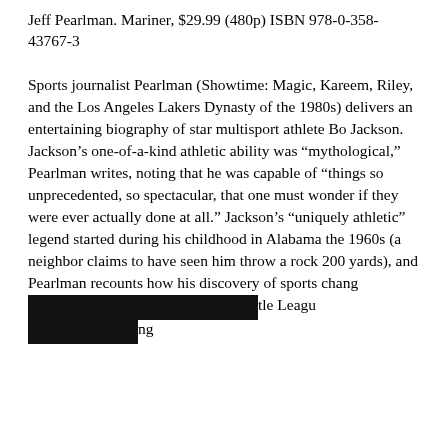Jeff Pearlman. Mariner, $29.99 (480p) ISBN 978-0-358-43767-3
Sports journalist Pearlman (Showtime: Magic, Kareem, Riley, and the Los Angeles Lakers Dynasty of the 1980s) delivers an entertaining biography of star multisport athlete Bo Jackson. Jackson's one-of-a-kind athletic ability was “mythological,” Pearlman writes, noting that he was capable of “things so unprecedented, so spectacular, that one must wonder if they were ever actually done at all.” Jackson’s “uniquely athletic” legend started during his childhood in Alabama the 1960s (a neighbor claims to have seen him throw a rock 200 yards), and Pearlman recounts how his discovery of sports chang[REDACTED]tle Leagu[REDACTED]ng